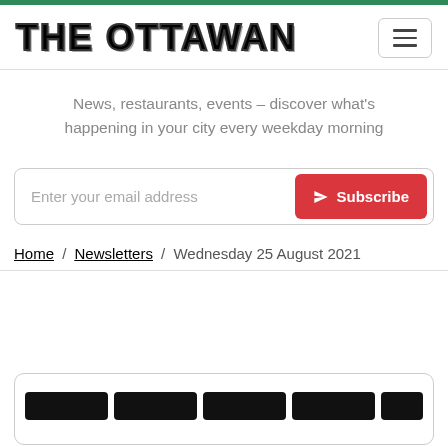THE OTTAWAN
News, restaurants, events – discover what's happening in your city every weekday morning
Enter your email address  Subscribe
Home / Newsletters / Wednesday 25 August 2021
[Figure (screenshot): Partially visible newsletter card at bottom of page with dark logo/title text]